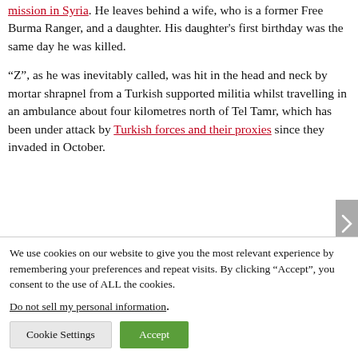mission in Syria. He leaves behind a wife, who is a former Free Burma Ranger, and a daughter. His daughter's first birthday was the same day he was killed.
"Z", as he was inevitably called, was hit in the head and neck by mortar shrapnel from a Turkish supported militia whilst travelling in an ambulance about four kilometres north of Tel Tamr, which has been under attack by Turkish forces and their proxies since they invaded in October.
We use cookies on our website to give you the most relevant experience by remembering your preferences and repeat visits. By clicking "Accept", you consent to the use of ALL the cookies.
Do not sell my personal information.